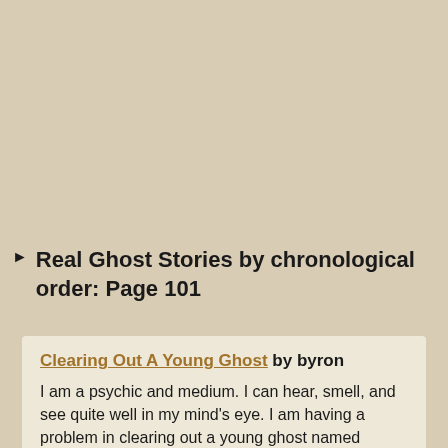Real Ghost Stories by chronological order: Page 101
Clearing Out A Young Ghost by byron
I am a psychic and medium. I can hear, smell, and see quite well in my mind's eye. I am having a problem in clearing out a young ghost named Michael and a few men, one mainly named Patrick. I have asked them all to go to the light. And they won't. I have burnt out my house with sage, put camphor by ...